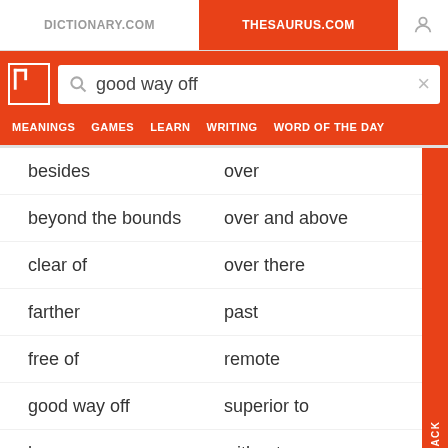DICTIONARY.COM | THESAURUS.COM
good way off
MEANINGS   GAMES   LEARN   WRITING   WORD OF THE DAY
besides
over
beyond the bounds
over and above
clear of
over there
farther
past
free of
remote
good way off
superior to
hyper
without
in addition to
yonder